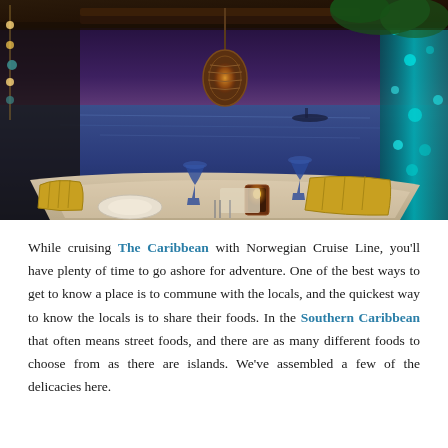[Figure (photo): An outdoor waterfront restaurant at dusk in the Caribbean. A dining table set with plates, blue wine glasses, and a glowing candle lantern is in the foreground. Yellow wicker chairs surround the table. A decorative woven pendant light hangs from a wooden beam overhead. The ocean is visible in the background with a purple and blue twilight sky. String lights and teal-lit glass columns are visible on the right side.]
While cruising The Caribbean with Norwegian Cruise Line, you'll have plenty of time to go ashore for adventure. One of the best ways to get to know a place is to commune with the locals, and the quickest way to know the locals is to share their foods. In the Southern Caribbean that often means street foods, and there are as many different foods to choose from as there are islands. We've assembled a few of the delicacies here.